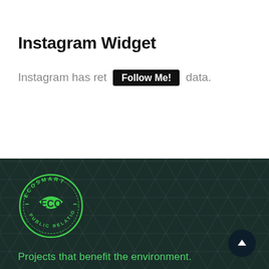Instagram Widget
Instagram has ret  Follow Me!  data.
[Figure (logo): EcoSmart ECO Public Relations circular green logo on dark green background]
Projects that benefit the environment.